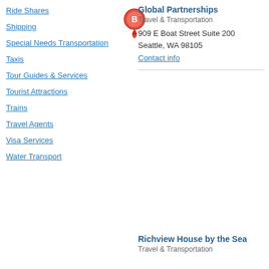Ride Shares
Shipping
Special Needs Transportation
Taxis
Tour Guides & Services
Tourist Attractions
Trains
Travel Agents
Visa Services
Water Transport
Global Partnerships
Travel & Transportation
909 E Boat Street Suite 200
Seattle, WA 98105
Contact info
Richview House by the Sea
Travel & Transportation